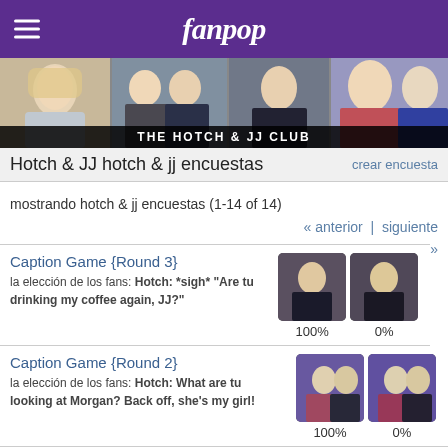fanpop
[Figure (photo): Banner collage of Hotch and JJ characters, with 'THE HOTCH & JJ CLUB' overlay]
Hotch & JJ hotch & jj encuestas
mostrando hotch & jj encuestas (1-14 of 14)
« anterior | siguiente »
Caption Game {Round 3}
la elección de los fans: Hotch: *sigh* "Are tu drinking my coffee again, JJ?"
100%  0%
Caption Game {Round 2}
la elección de los fans: Hotch: What are tu looking at Morgan? Back off, she's my girl!
100%  0%
Now that JJ is back for 7th season,